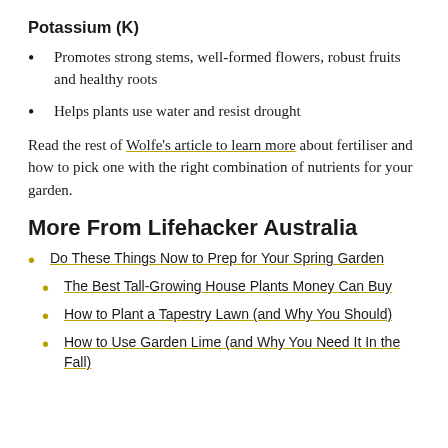Potassium (K)
Promotes strong stems, well-formed flowers, robust fruits and healthy roots
Helps plants use water and resist drought
Read the rest of Wolfe’s article to learn more about fertiliser and how to pick one with the right combination of nutrients for your garden.
More From Lifehacker Australia
Do These Things Now to Prep for Your Spring Garden
The Best Tall-Growing House Plants Money Can Buy
How to Plant a Tapestry Lawn (and Why You Should)
How to Use Garden Lime (and Why You Need It In the Fall)